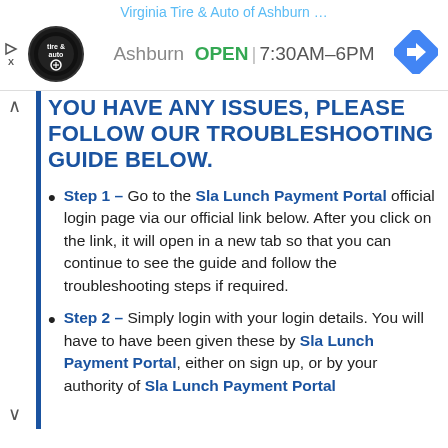Virginia Tire & Auto of Ashburn …
Ashburn  OPEN  7:30AM–6PM
YOU HAVE ANY ISSUES, PLEASE FOLLOW OUR TROUBLESHOOTING GUIDE BELOW.
Step 1 – Go to the Sla Lunch Payment Portal official login page via our official link below. After you click on the link, it will open in a new tab so that you can continue to see the guide and follow the troubleshooting steps if required.
Step 2 – Simply login with your login details. You will have to have been given these by Sla Lunch Payment Portal, either on sign up, or by your authority of Sla Lunch Payment Portal